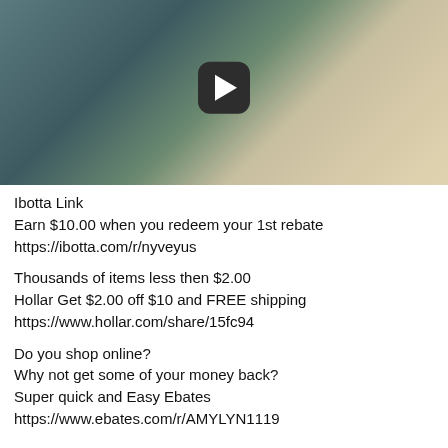[Figure (photo): Photo of old books and binders stacked together, some with green covers and some in cream/beige cardboard boxes labelled FRAGILE and GOLD SEAL, with a video play button overlay]
Ibotta Link
Earn $10.00 when you redeem your 1st rebate
https://ibotta.com/r/nyveyus

Thousands of items less then $2.00
Hollar Get $2.00 off $10 and FREE shipping
https://www.hollar.com/share/15fc94

Do you shop online?
Why not get some of your money back?
Super quick and Easy Ebates
https://www.ebates.com/r/AMYLYN1119